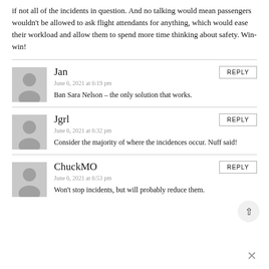if not all of the incidents in question. And no talking would mean passengers wouldn't be allowed to ask flight attendants for anything, which would ease their workload and allow them to spend more time thinking about safety. Win-win!
Jan
June 6, 2021 at 6:19 pm
Ban Sara Nelson – the only solution that works.
Jgrl
June 6, 2021 at 6:32 pm
Consider the majority of where the incidences occur. Nuff said!
ChuckMO
June 6, 2021 at 6:53 pm
Won't stop incidents, but will probably reduce them.